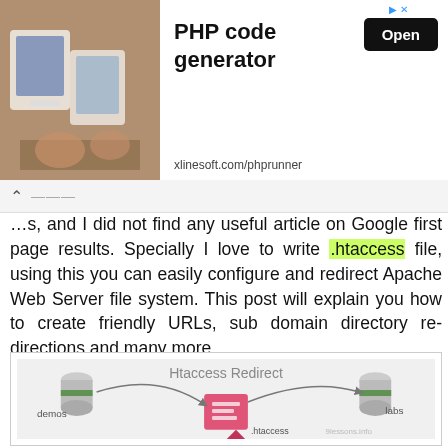[Figure (screenshot): Advertisement banner for PHP code generator by xlinesoft.com/phprunner with an Open button and a photo of people using tablets]
…s, and I did not find any useful article on Google first page results. Specially I love to write .htaccess file, using this you can easily configure and redirect Apache Web Server file system. This post will explain you how to create friendly URLs, sub domain directory re-directions and many more.
[Figure (illustration): Htaccess Redirect diagram showing servers labeled demos and labs connected to a central .htaccess file icon, with curved arrows. Watermark: 9lessons.info]